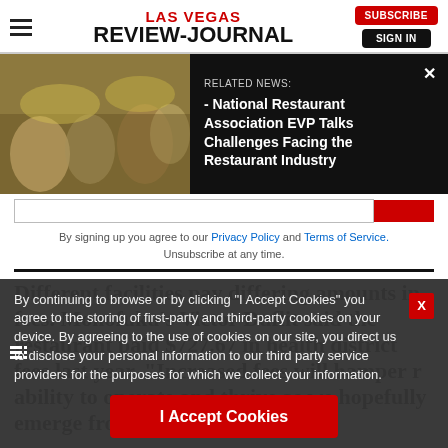LAS VEGAS REVIEW-JOURNAL
[Figure (screenshot): Related news banner with photo of restaurant diners and text: RELATED NEWS: - National Restaurant Association EVP Talks Challenges Facing the Restaurant Industry]
By signing up you agree to our Privacy Policy and Terms of Service. Unsubscribe at any time.
Different facilities pay differing amounts in fees. Monofuku's Victor Duflit said the restaurant paid $727.67 in health district fees last year. "Increased fees will hamper r ability to operate and thrive as we hopefully emerge from the crippling effects
By continuing to browse or by clicking "I Accept Cookies" you agree to the storing of first-party and third-party cookies on your device. By agreeing to the use of cookies on our site, you direct us to disclose your personal information to our third party service providers for the purposes for which we collect your information.